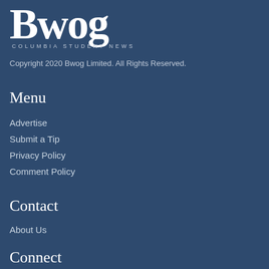[Figure (logo): Bwog Columbia Student News logo in white text on dark blue background]
Copyright 2020 Bwog Limited. All Rights Reserved.
Menu
Advertise
Submit a Tip
Privacy Policy
Comment Policy
Contact
About Us
Connect